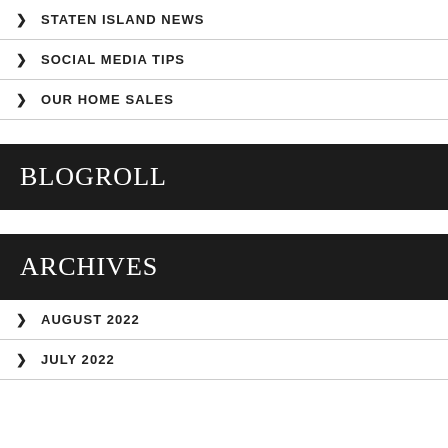STATEN ISLAND NEWS
SOCIAL MEDIA TIPS
OUR HOME SALES
BLOGROLL
ARCHIVES
AUGUST 2022
JULY 2022